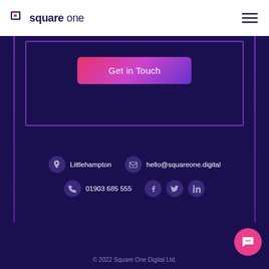[Figure (logo): Square One logo with icon and text]
[Figure (screenshot): Get in Touch button with gradient pink-to-purple background inside a bordered card on dark navy background]
Littlehampton
hello@squareone.digital
01903 685 555
© 2022 Square One Digital Ltd.